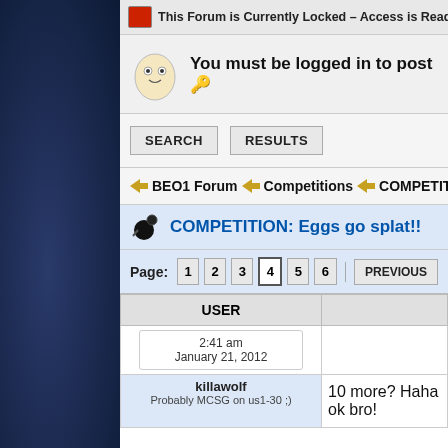This Forum is Currently Locked – Access is Read Only
You must be logged in to post
SEARCH   RESULTS
BEO1 Forum  Competitions  COMPETITION: Eggs go splat!!
COMPETITION: Eggs go splat!!
Page: 1 2 3 4 5 6  PREVIOUS
| USER |  |
| --- | --- |
| 2:41 am
January 21, 2012 |  |
| killawolf
Probably MCSG on us1-30 ;) | 10 more? Haha ok bro! |